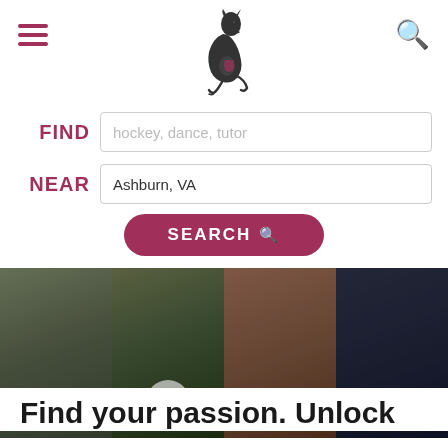[Figure (screenshot): Website header with hamburger menu icon on left, kangaroo logo in center, and search icon on right]
[Figure (screenshot): Search interface with FIND field (placeholder: hockey, dance, tutor), NEAR field (value: Ashburn, VA), and SEARCH button in magenta]
[Figure (photo): Collage of four sports photographs: athlete on left, youth baseball catcher, sprinter in starting position, football players]
Find your passion. Unlock